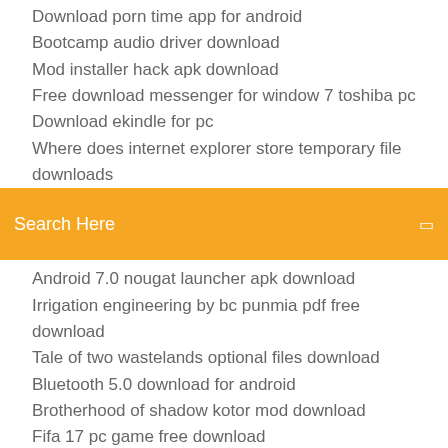Download porn time app for android
Bootcamp audio driver download
Mod installer hack apk download
Free download messenger for window 7 toshiba pc
Download ekindle for pc
Where does internet explorer store temporary file downloads
Search Here
Android 7.0 nougat launcher apk download
Irrigation engineering by bc punmia pdf free download
Tale of two wastelands optional files download
Bluetooth 5.0 download for android
Brotherhood of shadow kotor mod download
Fifa 17 pc game free download
Download turbo tax pdf without paying
Nitro pdf 64 bit full version free download
Download older version of rpcs3
Hola english magazine android download